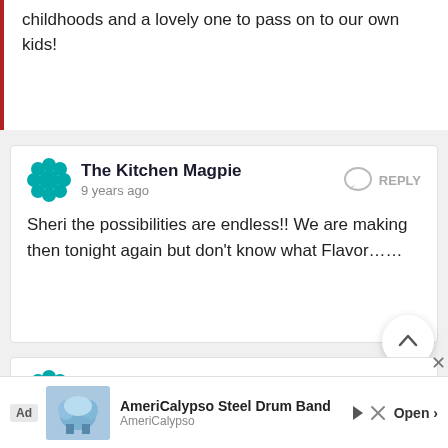childhoods and a lovely one to pass on to our own kids!
The Kitchen Magpie
9 years ago
Sheri the possibilities are endless!! We are making then tonight again but don't know what Flavor……
Sheri Wilhauk Schatschneider
9 years ago
We made these last week while we were camping too but instead we put in marshmallows, chic chi with graham crackers. My daughter had so much fun Ree
[Figure (screenshot): Advertisement bar at bottom: AmeriCalypso Steel Drum Band ad with image, Ad label, play/close icons, and Open button]